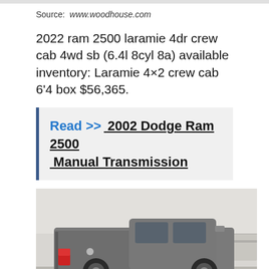Source: www.woodhouse.com
2022 ram 2500 laramie 4dr crew cab 4wd sb (6.4l 8cyl 8a) available inventory: Laramie 4×2 crew cab 6'4 box $56,365.
Read >> 2002 Dodge Ram 2500 Manual Transmission
[Figure (photo): Rear three-quarter view of a dark grey 2022 Ram 2500 pickup truck in a white garage setting]